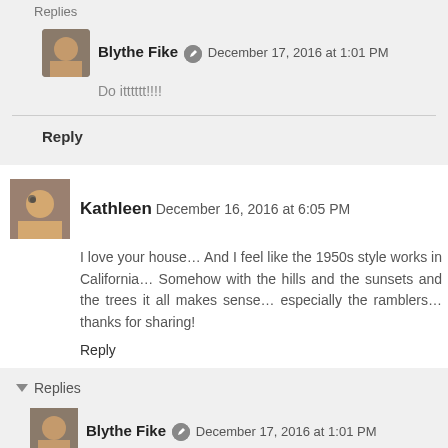Replies
Blythe Fike  December 17, 2016 at 1:01 PM
Do itttttt!!!!
Reply
Kathleen  December 16, 2016 at 6:05 PM
I love your house… And I feel like the 1950s style works in California… Somehow with the hills and the sunsets and the trees it all makes sense… especially the ramblers… thanks for sharing!
Reply
Replies
Blythe Fike  December 17, 2016 at 1:01 PM
It really does fit so well! I just love it.
Reply